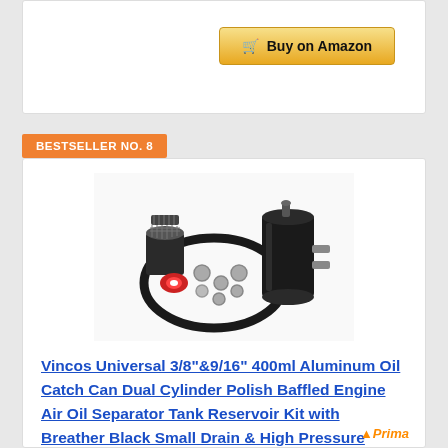[Figure (screenshot): Buy on Amazon button with shopping cart icon, gold/yellow gradient background]
BESTSELLER NO. 8
[Figure (photo): Vincos Universal aluminum oil catch can kit with hose, fittings, and breather, black cylinder reservoir with chrome fittings on white background]
Vincos Universal 3/8"&9/16" 400ml Aluminum Oil Catch Can Dual Cylinder Polish Baffled Engine Air Oil Separator Tank Reservoir Kit with Breather Black Small Drain & High Pressure Hose Line Tube
[Figure (logo): Prima logo in orange italic text]